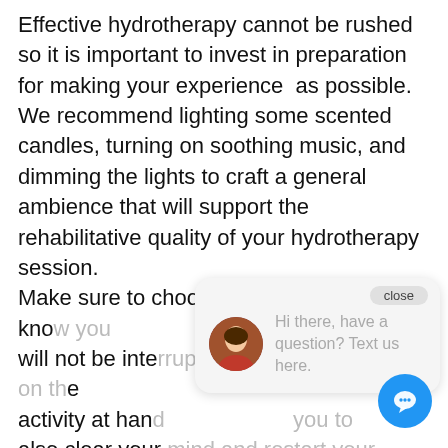Effective hydrotherapy cannot be rushed so it is important to invest in preparation for making your experience  as possible. We recommend lighting some scented candles, turning on soothing music, and dimming the lights to craft a general ambience that will support the rehabilitative quality of your hydrotherapy session.
Make sure to choose times when you know you will not be interrupted and can really focus on the activity at hand ... also clear your mind and restart your mental clock, especially after busy days or weeks in the office.
[Figure (screenshot): Chat widget overlay with close button and avatar. Shows message 'Hi there, have a question? Text us here.' with female avatar photo and blue chat bubble icon in lower right.]